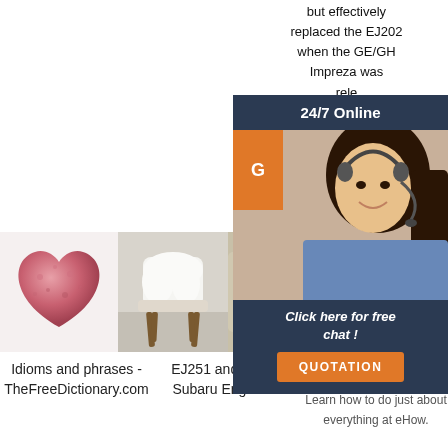but effectively replaced the EJ202 when the GE/GH Impreza was rele...
[Figure (infographic): Advertisement overlay with '24/7 Online' header, woman with headset, orange button labeled 'G', text 'Click here for free chat!' and orange 'QUOTATION' button]
[Figure (photo): Pink fluffy heart-shaped cushion/pillow]
[Figure (photo): White fluffy sheepskin chair on wooden legs in room setting]
[Figure (photo): Partial view of a product, cropped]
Idioms and phrases - TheFreeDictionary.com
EJ251 and EJ252 Subaru Engines -
eHow
Learn how to do just about everything at eHow.